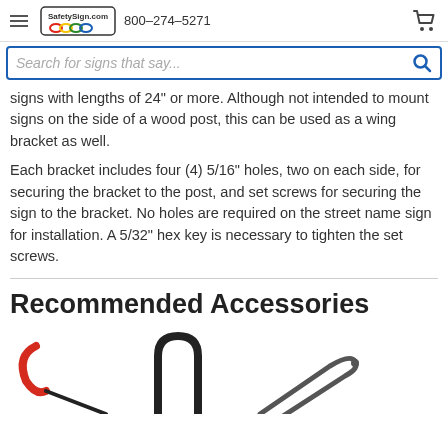SafetySign.com  800-274-5271
Search for signs that say...
signs with lengths of 24" or more. Although not intended to mount signs on the side of a wood post, this can be used as a wing bracket as well.
Each bracket includes four (4) 5/16" holes, two on each side, for securing the bracket to the post, and set screws for securing the sign to the bracket. No holes are required on the street name sign for installation. A 5/32" hex key is necessary to tighten the set screws.
Recommended Accessories
[Figure (photo): Partial view of three accessories items: a red-handled tool (top left), a black metal bracket (center bottom), and a hex key/Allen wrench (right).]